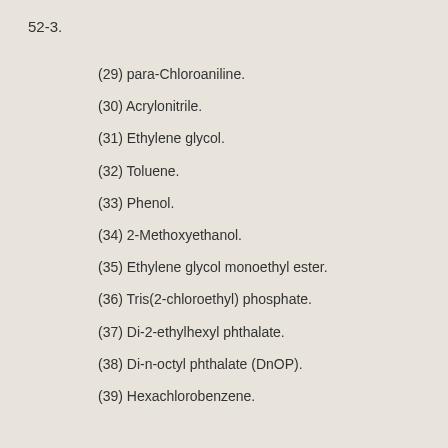52-3.
(29) para-Chloroaniline.
(30) Acrylonitrile.
(31) Ethylene glycol.
(32) Toluene.
(33) Phenol.
(34) 2-Methoxyethanol.
(35) Ethylene glycol monoethyl ester.
(36) Tris(2-chloroethyl) phosphate.
(37) Di-2-ethylhexyl phthalate.
(38) Di-n-octyl phthalate (DnOP).
(39) Hexachlorobenzene.